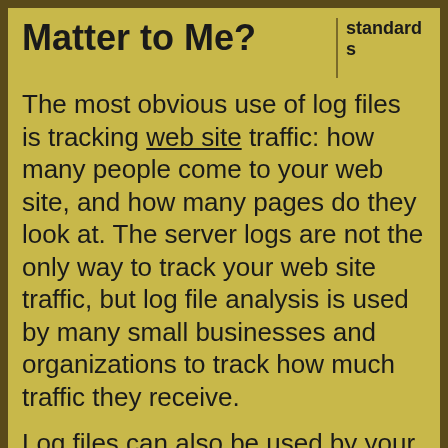Matter to Me?
The most obvious use of log files is tracking web site traffic: how many people come to your web site, and how many pages do they look at. The server logs are not the only way to track your web site traffic, but log file analysis is used by many small businesses and organizations to track how much traffic they receive.
Log files can also be used by your web developers to trouble